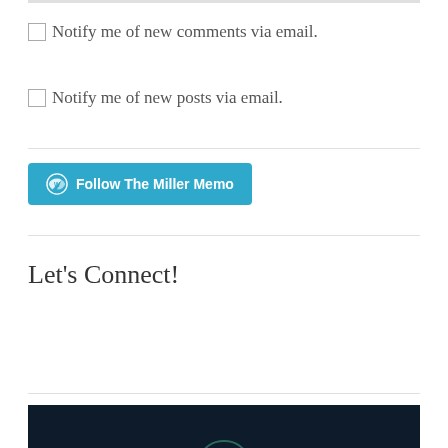Notify me of new comments via email.
Notify me of new posts via email.
Follow The Miller Memo
Let's Connect!
[Figure (photo): Dark background image with a partial circular shape visible, likely a person or logo at the bottom of the page]